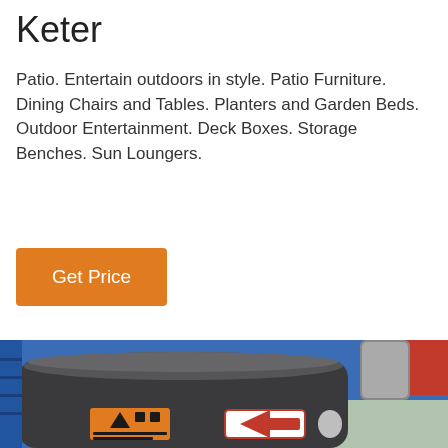Keter
Patio. Entertain outdoors in style. Patio Furniture. Dining Chairs and Tables. Planters and Garden Beds. Outdoor Entertainment. Deck Boxes. Storage Benches. Sun Loungers.
Get Price
[Figure (photo): Photo of a dark grey Keter deck box / storage container in a retail warehouse setting, with blue shelving in the background. An orange warning label and a red directional sticker are visible on the front of the unit.]